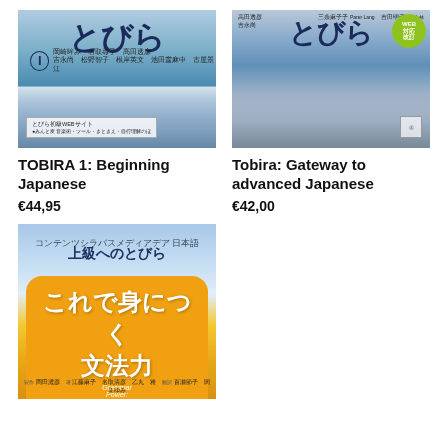[Figure (photo): Book cover of TOBIRA 1: Beginning Japanese - cityscape of Tokyo with sky]
TOBIRA 1: Beginning Japanese
€44,95
[Figure (photo): Book cover of Tobira: Gateway to advanced Japanese - cityscape with WEB badge]
Tobira: Gateway to advanced Japanese
€42,00
[Figure (photo): Book cover of Tobira Grammar Power: Exercises for Mastery - Japanese text with yellow rounded box]